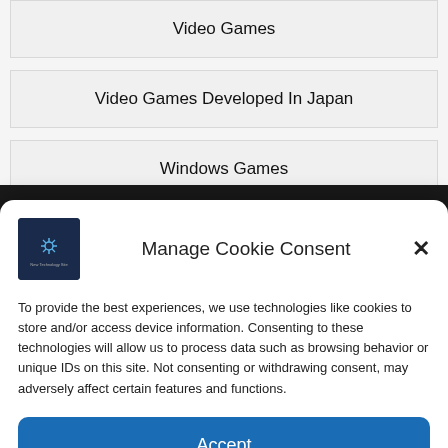Video Games
Video Games Developed In Japan
Windows Games
Manage Cookie Consent
To provide the best experiences, we use technologies like cookies to store and/or access device information. Consenting to these technologies will allow us to process data such as browsing behavior or unique IDs on this site. Not consenting or withdrawing consent, may adversely affect certain features and functions.
Accept